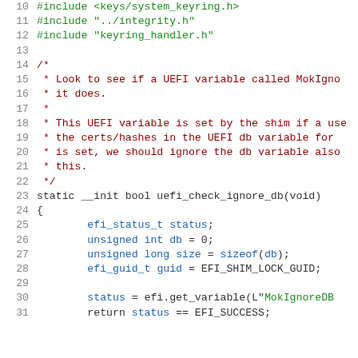Source code snippet from a C file showing UEFI keyring handler code, lines 10-31
10: #include <keys/system_keyring.h>
11: #include "../integrity.h"
12: #include "keyring_handler.h"
13: (blank)
14: /*
15:  * Look to see if a UEFI variable called MokIgno...
16:  * it does.
17:  *
18:  * This UEFI variable is set by the shim if a us...
19:  * the certs/hashes in the UEFI db variable for...
20:  * is set, we should ignore the db variable als...
21:  * this.
22:  */
23: static __init bool uefi_check_ignore_db(void)
24: {
25:     efi_status_t status;
26:     unsigned int db = 0;
27:     unsigned long size = sizeof(db);
28:     efi_guid_t guid = EFI_SHIM_LOCK_GUID;
29: (blank)
30:     status = efi.get_variable(L"MokIgnoreDB...
31:     return status == EFI_SUCCESS;